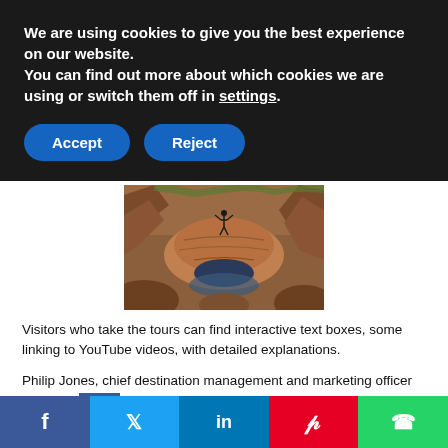We are using cookies to give you the best experience on our website.
You can find out more about which cookies we are using or switch them off in settings.
[Figure (photo): Person standing on red sandstone canyon rock formation with water reflection below]
Visitors who take the tours can find interactive text boxes, some linking to YouTube videos, with detailed explanations.
Philip Jones, chief destination management and marketing officer at the RC... visit to ap...